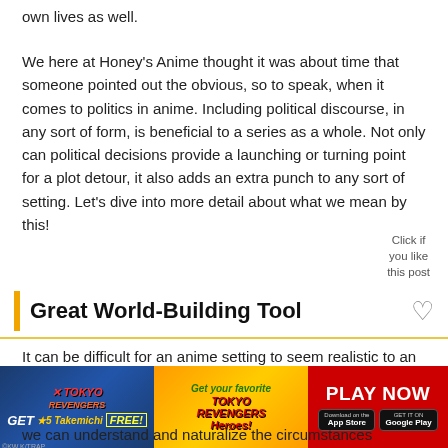own lives as well.
We here at Honey’s Anime thought it was about time that someone pointed out the obvious, so to speak, when it comes to politics in anime. Including political discourse, in any sort of form, is beneficial to a series as a whole. Not only can political decisions provide a launching or turning point for a plot detour, it also adds an extra punch to any sort of setting. Let’s dive into more detail about what we mean by this!
Click if you like this post
Great World-Building Tool
It can be difficult for an anime setting to seem realistic to an audience, especially if that setting is
[Figure (infographic): Tokyo Revengers game advertisement banner with three sections: left section shows Tokyo Revengers logo with 'GET FREE' offer, middle section shows anime characters with 'Get your favorite Tokyo Revengers Heroes!' text, right section shows red background with 'PLAY NOW' text and App Store/Google Play buttons.]
we can understand and naturalize the circumstances